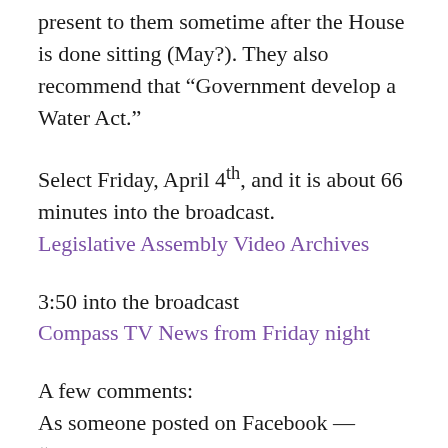present to them sometime after the House is done sitting (May?).  They also recommend that “Government develop a Water Act.”
Select Friday, April 4th, and it is about 66 minutes into the broadcast.
Legislative Assembly Video Archives
3:50 into the broadcast
Compass TV News from Friday night
A few comments:
As someone posted on Facebook — “Breathing room.  But no complacency.” — as a committee’s recommendation is not binding, and though